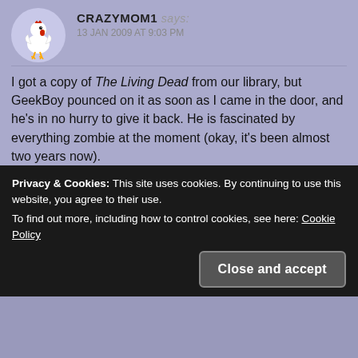[Figure (illustration): Cartoon rooster/chicken avatar in circular purple background]
CRAZYMOM1 says: 13 JAN 2009 AT 9:03 PM
I got a copy of The Living Dead from our library, but GeekBoy pounced on it as soon as I came in the door, and he's in no hurry to give it back. He is fascinated by everything zombie at the moment (okay, it's been almost two years now).
Loading...
Reply
[Figure (illustration): Cartoon bald head avatar in circular peach background]
SYLVIA says:
Privacy & Cookies: This site uses cookies. By continuing to use this website, you agree to their use.
To find out more, including how to control cookies, see here: Cookie Policy
Close and accept
Looking forward to the dinner photos.